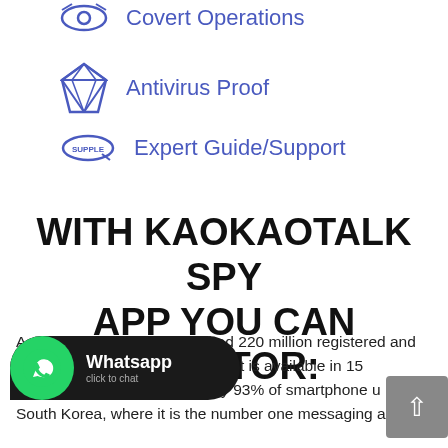Covert Operations
Antivirus Proof
Expert Guide/Support
WITH KAOKAOTALK SPY APP YOU CAN MONITOR:
As of May 2017, KakaoTalk had 220 million registered and 49 million monthly active users. It is available in 15 languages, and is also used by 93% of smartphone users in South Korea, where it is the number one messaging app.
[Figure (other): WhatsApp click to chat widget button with phone icon]
[Figure (other): Scroll to top button with upward arrow]